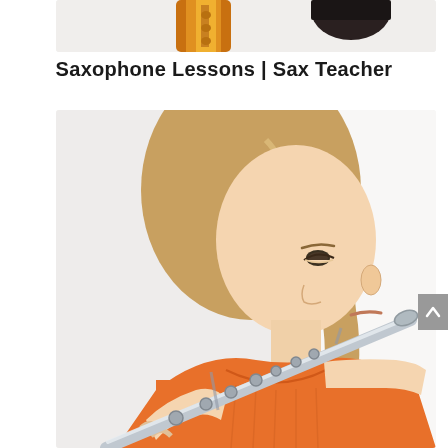[Figure (photo): Partial view of saxophone and dark object, cropped at top of frame]
Saxophone Lessons | Sax Teacher
[Figure (photo): Young girl with long blonde hair wearing an orange top, playing a silver flute, photographed against a white background]